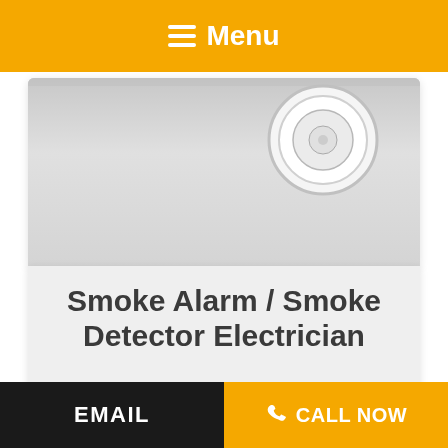☰ Menu
[Figure (photo): Ceiling-mounted smoke detector/alarm device viewed from below, on a gray ceiling background]
Smoke Alarm / Smoke Detector Electrician
Smoke detector and alarms save lives, keep your family safe
Discover More
[Figure (photo): Interior ceiling with recessed downlights and architectural detail, warm lighting]
EMAIL   📞 CALL NOW